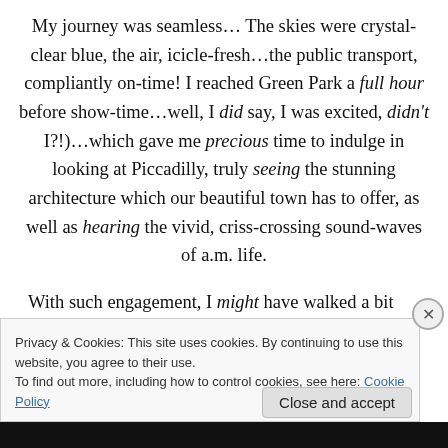My journey was seamless… The skies were crystal-clear blue, the air, icicle-fresh…the public transport, compliantly on-time! I reached Green Park a full hour before show-time…well, I did say, I was excited, didn't I?!)…which gave me precious time to indulge in looking at Piccadilly, truly seeing the stunning architecture which our beautiful town has to offer, as well as hearing the vivid, criss-crossing sound-waves of a.m. life.
With such engagement, I might have walked a bit beyond the hallowed building… Okay, so I did(!)… but, on turning
Privacy & Cookies: This site uses cookies. By continuing to use this website, you agree to their use.
To find out more, including how to control cookies, see here: Cookie Policy